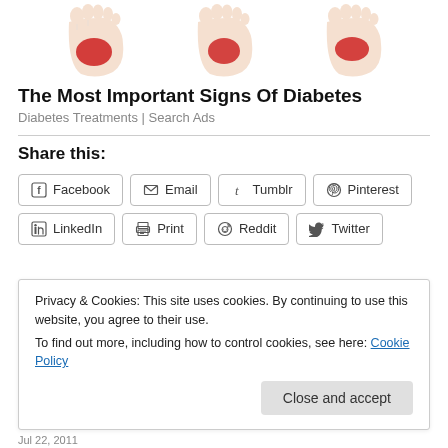[Figure (illustration): Three illustrated human feet viewed from below, each with a red highlighted area on the sole, depicting diabetic foot symptoms]
The Most Important Signs Of Diabetes
Diabetes Treatments | Search Ads
Share this:
Facebook Email Tumblr Pinterest LinkedIn Print Reddit Twitter
Privacy & Cookies: This site uses cookies. By continuing to use this website, you agree to their use.
To find out more, including how to control cookies, see here: Cookie Policy
Jul 22, 2011